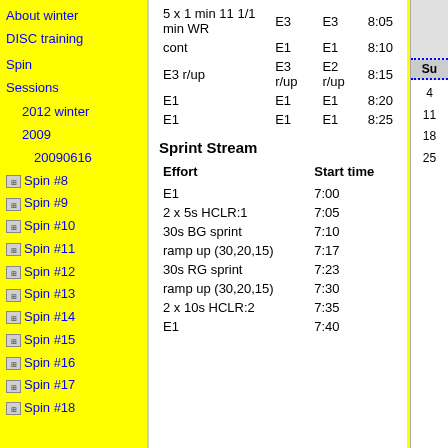About winter
DISC training
Spin Sessions
2012 winter
2009
20090616
Spin #8
Spin #9
Spin #10
Spin #11
Spin #12
Spin #13
Spin #14
Spin #15
Spin #16
Spin #17
Spin #18
|  | E3 | E3 | 8:05 |
| --- | --- | --- | --- |
| cont | E1 | E1 | 8:10 |
| E3 r/up | E3 r/up | E2 r/up | 8:15 |
| E1 | E1 | E1 | 8:20 |
| E1 | E1 | E1 | 8:25 |
Sprint Stream
| Effort | Start time |
| --- | --- |
| E1 | 7:00 |
| 2 x 5s HCLR:1 | 7:05 |
| 30s BG sprint | 7:10 |
| ramp up (30,20,15) | 7:17 |
| 30s RG sprint | 7:23 |
| ramp up (30,20,15) | 7:30 |
| 2 x 10s HCLR:2 | 7:35 |
| E1 | 7:40 |